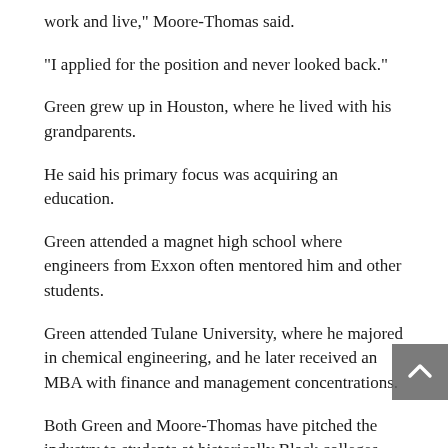work and live," Moore-Thomas said.
“I applied for the position and never looked back.”
Green grew up in Houston, where he lived with his grandparents.
He said his primary focus was acquiring an education.
Green attended a magnet high school where engineers from Exxon often mentored him and other students.
Green attended Tulane University, where he majored in chemical engineering, and he later received an MBA with finance and management concentrations.
Both Green and Moore-Thomas have pitched the industry to students at historically Black colleges and universities, and they continue to encourage all minorities about oil and gas.
“I have worked in this industry for 24 years, but my first…